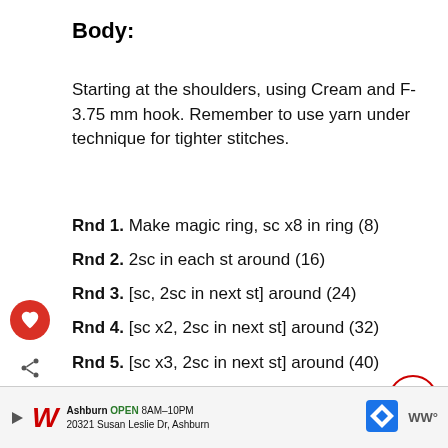Body:
Starting at the shoulders, using Cream and F-3.75 mm hook. Remember to use yarn under technique for tighter stitches.
Rnd 1. Make magic ring, sc x8 in ring (8)
Rnd 2. 2sc in each st around (16)
Rnd 3. [sc, 2sc in next st] around (24)
Rnd 4. [sc x2, 2sc in next st] around (32)
Rnd 5. [sc x3, 2sc in next st] around (40)
Rnd 6. sc in each st around (40) Change [to] sparkle (green)
Rnd 7. sc in each st around (40)
[Figure (other): Advertisement banner for Walgreens: Ashburn OPEN 8AM-10PM, 20321 Susan Leslie Dr, Ashburn]